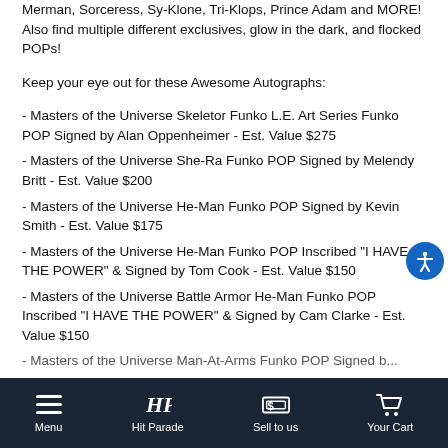Merman, Sorceress, Sy-Klone, Tri-Klops, Prince Adam and MORE! Also find multiple different exclusives, glow in the dark, and flocked POPs!
Keep your eye out for these Awesome Autographs:
- Masters of the Universe Skeletor Funko L.E. Art Series Funko POP Signed by Alan Oppenheimer - Est. Value $275
- Masters of the Universe She-Ra Funko POP Signed by Melendy Britt - Est. Value $200
- Masters of the Universe He-Man Funko POP Signed by Kevin Smith - Est. Value $175
- Masters of the Universe He-Man Funko POP Inscribed "I HAVE THE POWER" & Signed by Tom Cook - Est. Value $150
- Masters of the Universe Battle Armor He-Man Funko POP Inscribed "I HAVE THE POWER" & Signed by Cam Clarke - Est. Value $150
- Masters of the Universe Man-At-Arms Funko POP Signed by...
Menu | Hit Parade | Sell to us | Your Cart